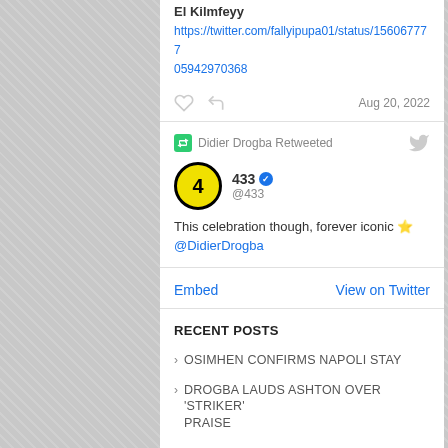El Kilmfeyy
https://twitter.com/fallyipupa01/status/15606777705942970368
Aug 20, 2022
Didier Drogba Retweeted
433 @433
This celebration though, forever iconic ⭐ @DidierDrogba
Embed
View on Twitter
RECENT POSTS
OSIMHEN CONFIRMS NAPOLI STAY
DROGBA LAUDS ASHTON OVER 'STRIKER' PRAISE
CHELSEA ON DIDIER DROGBA 2.0 TRAIL